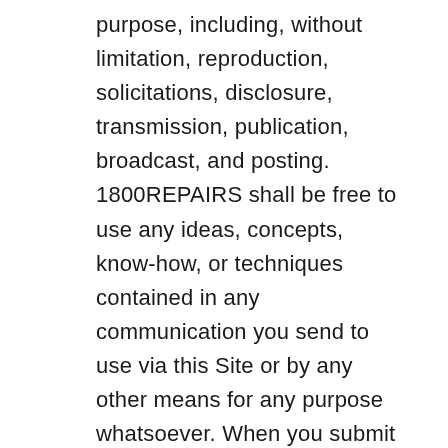purpose, including, without limitation, reproduction, solicitations, disclosure, transmission, publication, broadcast, and posting. 1800REPAIRS shall be free to use any ideas, concepts, know-how, or techniques contained in any communication you send to use via this Site or by any other means for any purpose whatsoever. When you submit any material or information protected by intellectual property rights (e.g., photos, videos, articles, etc.) to the Site, you represent, warrant and covenant to 1800REPAIRS that you have the necessary rights to